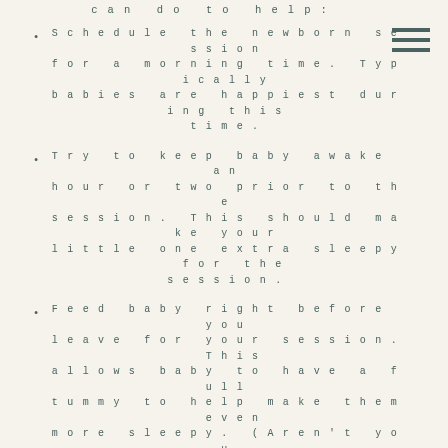can do to help:
Schedule the newborn session for a morning time. Typically babies are happiest during this time.
Try to keep baby awake an hour or two prior to the session. This should make your little one extra sleepy for the session.
Feed baby right before you leave for your session. This allows baby to have a full tummy to help make them even more sleepy. (Aren't you always sleepy after getting your belly full?)
Change baby's diaper right before coming.